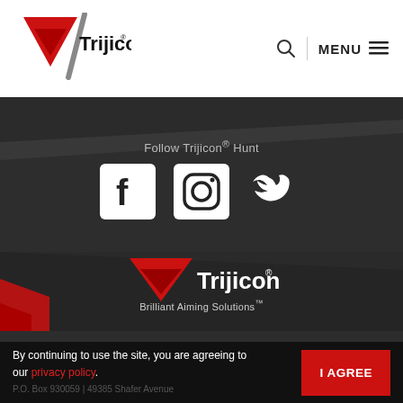[Figure (logo): Trijicon logo with red downward triangle and brand name in header]
MENU
Follow Trijicon® Hunt
[Figure (illustration): Facebook, Instagram, and Twitter social media icons in white on dark background]
[Figure (logo): Trijicon logo with red downward triangle, brand name, and tagline 'Brilliant Aiming Solutions™']
Brilliant Aiming Solutions™
By continuing to use the site, you are agreeing to our privacy policy.
P.O. Box 930059 | 49385 Shafer Avenue